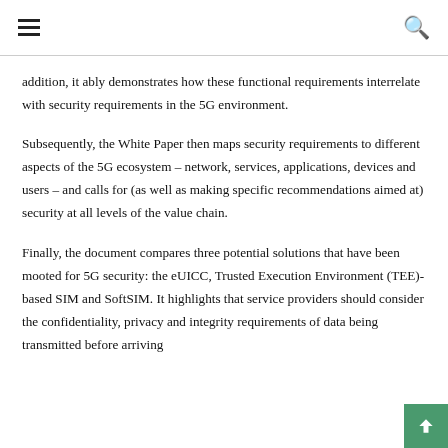addition, it ably demonstrates how these functional requirements interrelate with security requirements in the 5G environment.
Subsequently, the White Paper then maps security requirements to different aspects of the 5G ecosystem – network, services, applications, devices and users – and calls for (as well as making specific recommendations aimed at) security at all levels of the value chain.
Finally, the document compares three potential solutions that have been mooted for 5G security: the eUICC, Trusted Execution Environment (TEE)-based SIM and SoftSIM. It highlights that service providers should consider the confidentiality, privacy and integrity requirements of data being transmitted before arriving the …